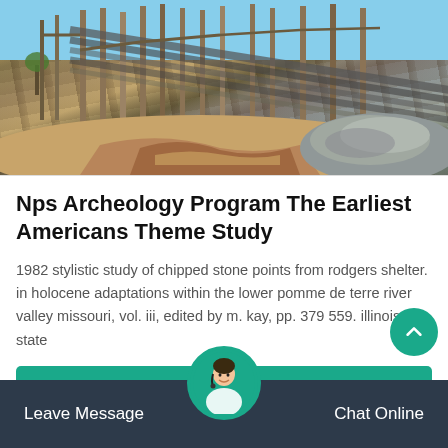[Figure (photo): Outdoor photo of a quarry or excavation/mining site with conveyor belts, machinery scaffolding, gravel piles, and dirt trenches under blue sky]
Nps Archeology Program The Earliest Americans Theme Study
1982 stylistic study of chipped stone points from rodgers shelter. in holocene adaptations within the lower pomme de terre river valley missouri, vol. iii, edited by m. kay, pp. 379 559. illinois state
Leave Message | Chat Online